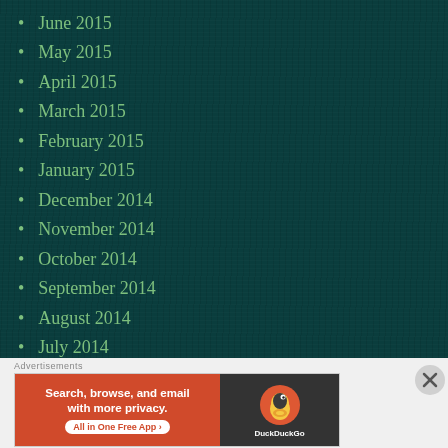June 2015
May 2015
April 2015
March 2015
February 2015
January 2015
December 2014
November 2014
October 2014
September 2014
August 2014
July 2014
June 2014
[Figure (screenshot): DuckDuckGo advertisement banner: orange left side with text 'Search, browse, and email with more privacy. All in One Free App', dark right side with DuckDuckGo duck logo and brand name.]